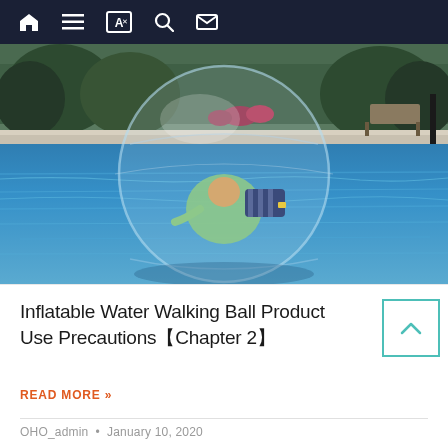Navigation bar with home, list, translate, search, and mail icons
[Figure (photo): Person inside a large transparent inflatable water walking ball floating on a blue pool, with greenery and trees in the background]
Inflatable Water Walking Ball Product Use Precautions【Chapter 2】
READ MORE »
OHO_admin · January 10, 2020